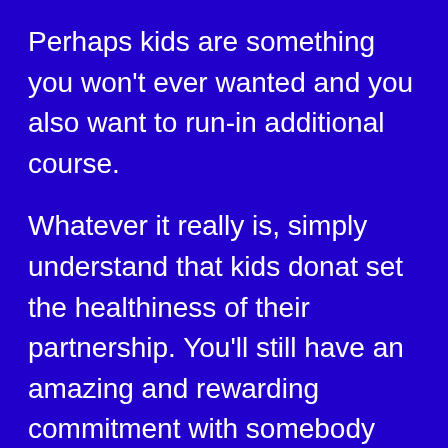Perhaps kids are something you won't ever wanted and you also want to run-in additional course.
Whatever it really is, simply understand that kids donat set the healthiness of their partnership. You'll still have an amazing and rewarding commitment with somebody who has young ones.
Consider the advantages and disadvantages, examine your very own existence, following determine what really possible handle.